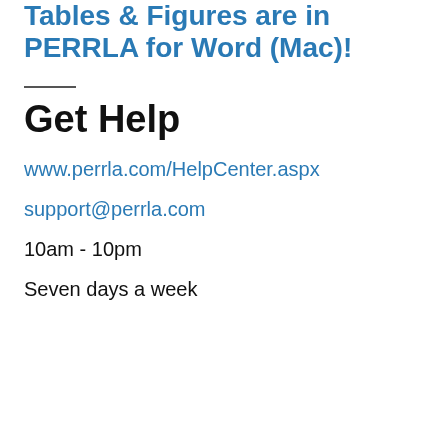Tables & Figures are in PERRLA for Word (Mac)!
Get Help
www.perrla.com/HelpCenter.aspx
support@perrla.com
10am - 10pm
Seven days a week